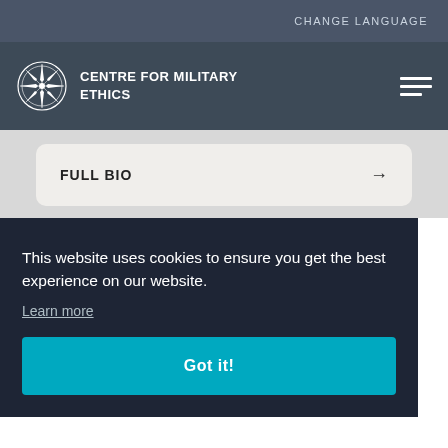CHANGE LANGUAGE
CENTRE FOR MILITARY ETHICS
FULL BIO →
This website uses cookies to ensure you get the best experience on our website.
Learn more
Got it!